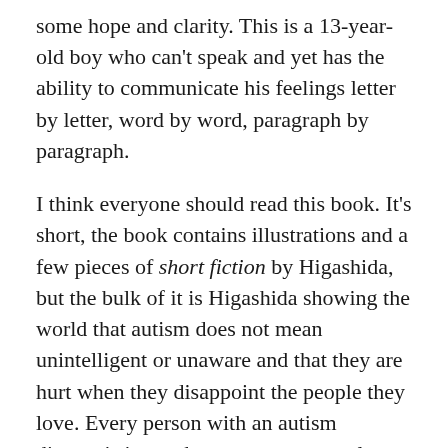some hope and clarity.  This is a 13-year-old boy who can't speak and yet has the ability to communicate his feelings letter by letter, word by word, paragraph by paragraph.
I think everyone should read this book.  It's short, the book contains illustrations and a few pieces of short fiction by Higashida, but the bulk of it is Higashida showing the world that autism does not mean unintelligent or unaware and that they are hurt when they disappoint the people they love.  Every person with an autism diagnosis is not the same, not even close, each one having strengths and problem areas- just like every other kid, but everyone will gain a better perspective after an hour with this book. He does not speak for every autistic child, like he sometimes says he does, but he does offer a real insight into his